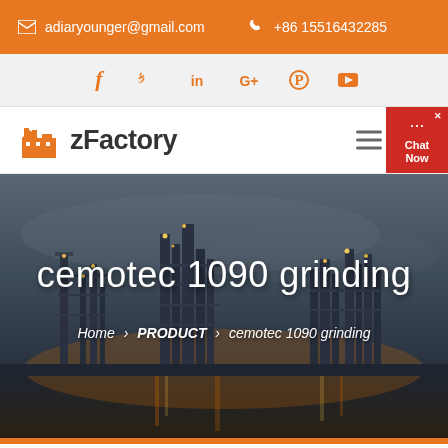adiaryounger@gmail.com  +86 15516432285
[Figure (logo): Social media icons: Facebook, Twitter, LinkedIn, Google+, Pinterest, YouTube in orange]
[Figure (logo): zFactory logo with orange factory building icon and dark text]
cemotec 1090 grinding
Home > PRODUCT > cemotec 1090 grinding
[Figure (photo): Industrial factory/refinery at dusk with lights reflected on water, dark atmospheric sky]